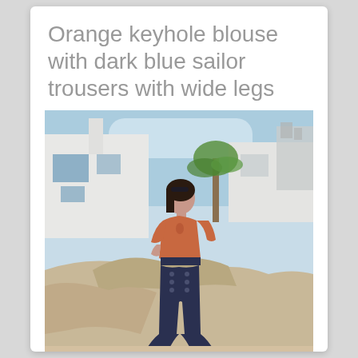Orange keyhole blouse with dark blue sailor trousers with wide legs
[Figure (photo): A woman wearing an orange keyhole blouse and dark blue high-waisted sailor trousers with wide legs, standing outdoors near white buildings, rocky terrain, and a palm tree under a blue sky.]